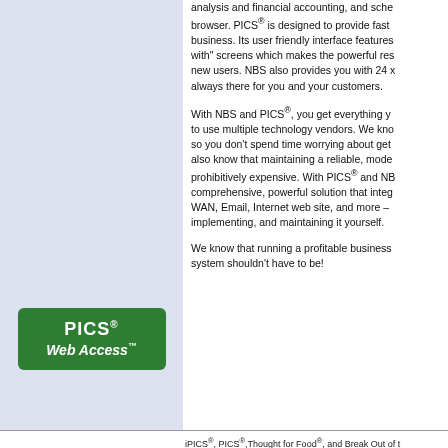analysis and financial accounting, and scheduling – all within your browser. PICS® is designed to provide fast results for your business. Its user friendly interface features many "point to" and "stick with" screens which makes the powerful results very accessible to new users. NBS also provides you with 24 x 7 support, so we're always there for you and your customers.
With NBS and PICS®, you get everything you need without having to use multiple technology vendors. We know technology changes, so you don't spend time worrying about getting left behind. We also know that maintaining a reliable, modern infrastructure can be prohibitively expensive. With PICS® and NBS, you get a comprehensive, powerful solution that integrates POS, LAN/WAN, Email, Internet web site, and more – without designing, implementing, and maintaining it yourself.
We know that running a profitable business is challenging enough; your system shouldn't have to be!
[Figure (logo): PICS Web Access logo — green rounded rectangle with white bold text 'PICS® Web Access™']
iPICS®, PICS®,Thought for Food®, and Break Out of the Box® are registered trademarks of NBS Consultants, Inc.
Copyright © 1990-2012 - All Rights Reserved